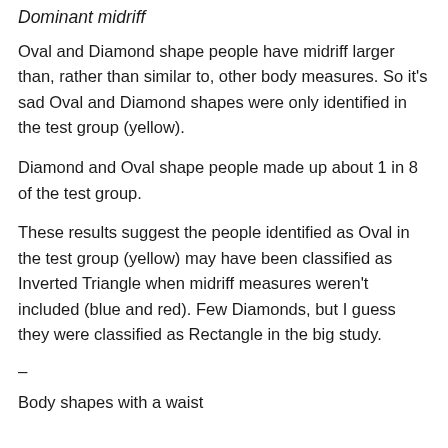Dominant midriff
Oval and Diamond shape people have midriff larger than, rather than similar to, other body measures. So it's sad Oval and Diamond shapes were only identified in the test group (yellow).
Diamond and Oval shape people made up about 1 in 8 of the test group.
These results suggest the people identified as Oval in the test group (yellow) may have been classified as Inverted Triangle when midriff measures weren't included (blue and red). Few Diamonds, but I guess they were classified as Rectangle in the big study.
–
Body shapes with a waist